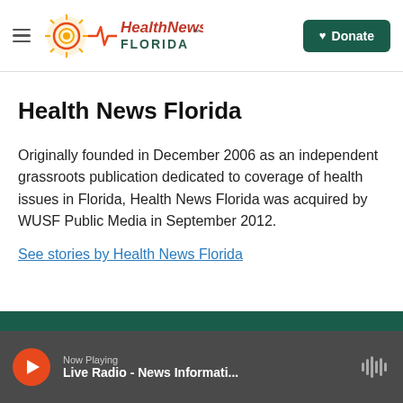Health News Florida — navigation header with logo and Donate button
Health News Florida
Originally founded in December 2006 as an independent grassroots publication dedicated to coverage of health issues in Florida, Health News Florida was acquired by WUSF Public Media in September 2012.
See stories by Health News Florida
Now Playing Live Radio - News Informati...